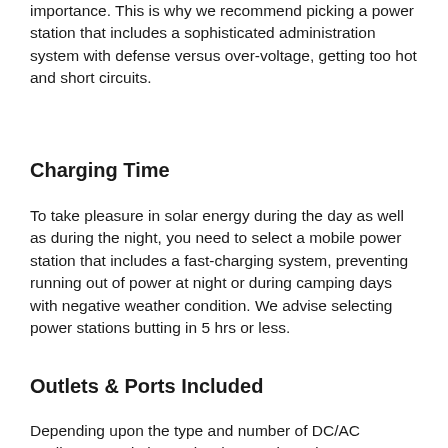importance. This is why we recommend picking a power station that includes a sophisticated administration system with defense versus over-voltage, getting too hot and short circuits.
Charging Time
To take pleasure in solar energy during the day as well as during the night, you need to select a mobile power station that includes a fast-charging system, preventing running out of power at night or during camping days with negative weather condition. We advise selecting power stations butting in 5 hrs or less.
Outlets & Ports Included
Depending upon the type and number of DC/AC appliances and electronics that you intend to